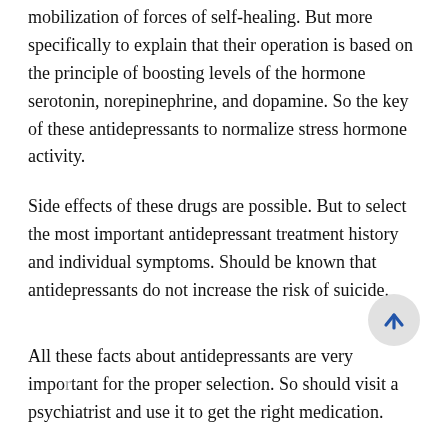mobilization of forces of self-healing. But more specifically to explain that their operation is based on the principle of boosting levels of the hormone serotonin, norepinephrine, and dopamine. So the key of these antidepressants to normalize stress hormone activity.
Side effects of these drugs are possible. But to select the most important antidepressant treatment history and individual symptoms. Should be known that antidepressants do not increase the risk of suicide.
All these facts about antidepressants are very important for the proper selection. So should visit a psychiatrist and use it to get the right medication.